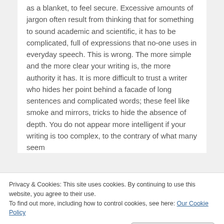as a blanket, to feel secure. Excessive amounts of jargon often result from thinking that for something to sound academic and scientific, it has to be complicated, full of expressions that no-one uses in everyday speech. This is wrong. The more simple and the more clear your writing is, the more authority it has. It is more difficult to trust a writer who hides her point behind a facade of long sentences and complicated words; these feel like smoke and mirrors, tricks to hide the absence of depth. You do not appear more intelligent if your writing is too complex, to the contrary of what many seem
Privacy & Cookies: This site uses cookies. By continuing to use this website, you agree to their use.
To find out more, including how to control cookies, see here: Our Cookie Policy
11  Bonus tip: learn from the masters. Get The